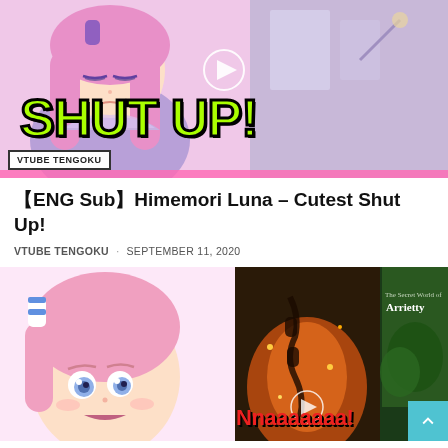[Figure (screenshot): Video thumbnail showing anime character with pink/purple hair and text 'SHUT UP!' in large neon green letters with black outline. Category badge 'VTUBE TENGOKU' in bottom left corner.]
【ENG Sub】Himemori Luna – Cutest Shut Up!
VTUBE TENGOKU · SEPTEMBER 11, 2020
[Figure (screenshot): Video thumbnail showing anime character with pink hair and surprised expression, alongside movie scenes from 'The Secret World of Arrietty' and text 'Nnaaaaaaa!' in red letters.]